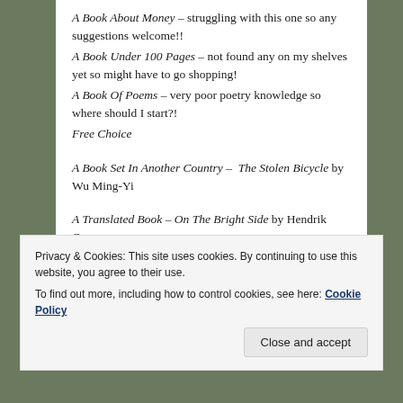A Book About Money – struggling with this one so any suggestions welcome!!
A Book Under 100 Pages – not found any on my shelves yet so might have to go shopping!
A Book Of Poems – very poor poetry knowledge so where should I start?!
Free Choice
A Book Set In Another Country – The Stolen Bicycle by Wu Ming-Yi
A Translated Book – On The Bright Side by Hendrik Groen
Privacy & Cookies: This site uses cookies. By continuing to use this website, you agree to their use.
To find out more, including how to control cookies, see here: Cookie Policy
Close and accept